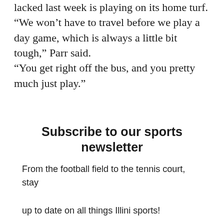lacked last week is playing on its home turf. “We won’t have to travel before we play a day game, which is always a little bit tough,” Parr said. “You get right off the bus, and you pretty much just play.”
Subscribe to our sports newsletter
From the football field to the tennis court, stay up to date on all things Illini sports! Different from the regular newsletter, the Press Box presents purely sports-related content.